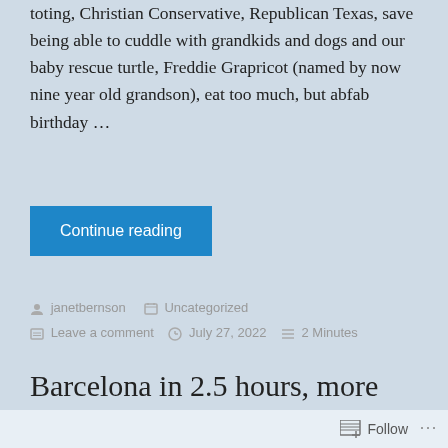toting, Christian Conservative, Republican Texas, save being able to cuddle with grandkids and dogs and our baby rescue turtle, Freddie Grapricot (named by now nine year old grandson), eat too much, but abfab birthday …
Continue reading
janetbernson  Uncategorized  Leave a comment  July 27, 2022  2 Minutes
Barcelona in 2.5 hours, more